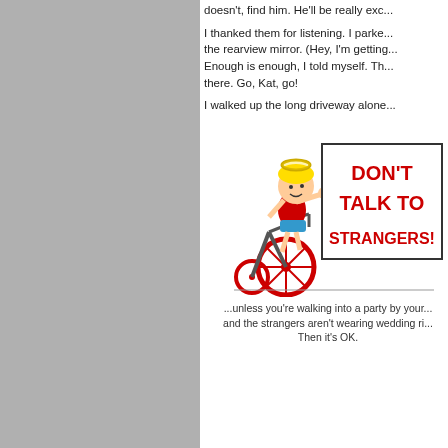doesn't, find him. He'll be really exc...
I thanked them for listening. I parked... the rearview mirror. (Hey, I'm getting... Enough is enough, I told myself. Th... there. Go, Kat, go!
I walked up the long driveway alone...
[Figure (illustration): Cartoon child on tricycle with sign reading DON'T TALK TO STRANGERS! in red bold text]
...unless you're walking into a party by your... and the strangers aren't wearing wedding ri... Then it's OK.